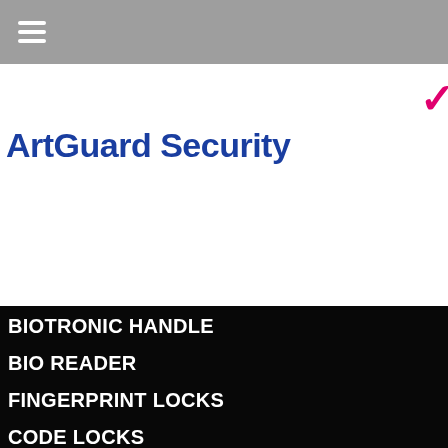[Figure (logo): ArtGuard Security logo with blue 3D swoosh figure icon and company name in dark blue bold text]
[Figure (other): Four country flags: UK, Netherlands/Croatia, Slovenia, Germany]
BIOTRONIC HANDLE
BIO READER
FINGERPRINT LOCKS
CODE LOCKS
TOUCHLESS ACCESS CONTROL
INTERCOMS
PROFESSIONELE VIDEO ANALYSE
BLUE VISION